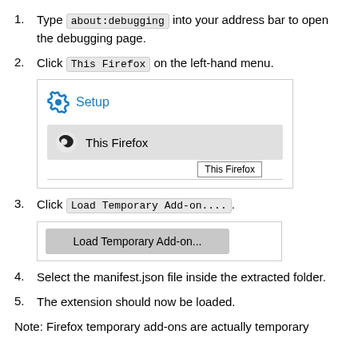1. Type about:debugging into your address bar to open the debugging page.
2. Click This Firefox on the left-hand menu.
[Figure (screenshot): Screenshot of Firefox about:debugging page showing Setup menu item and This Firefox selected menu item, with a tooltip showing 'This Firefox']
3. Click Load Temporary Add-on....
[Figure (screenshot): Screenshot showing the 'Load Temporary Add-on...' button in Firefox about:debugging page]
4. Select the manifest.json file inside the extracted folder.
5. The extension should now be loaded.
Note: Firefox temporary add-ons are actually temporary